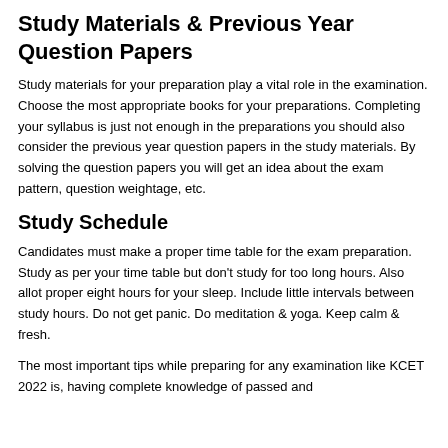Study Materials & Previous Year Question Papers
Study materials for your preparation play a vital role in the examination. Choose the most appropriate books for your preparations. Completing your syllabus is just not enough in the preparations you should also consider the previous year question papers in the study materials. By solving the question papers you will get an idea about the exam pattern, question weightage, etc.
Study Schedule
Candidates must make a proper time table for the exam preparation. Study as per your time table but don't study for too long hours. Also allot proper eight hours for your sleep. Include little intervals between study hours. Do not get panic. Do meditation & yoga. Keep calm & fresh.
The most important tips while preparing for any examination like KCET 2022 is, having complete knowledge of passed and